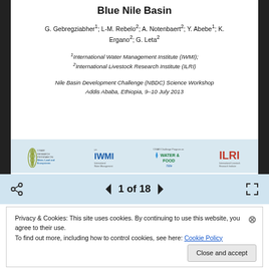Blue Nile Basin
G. Gebregziabher¹; L-M. Rebelo²; A. Notenbaert²; Y. Abebe¹; K. Ergano²; G. Leta²
¹International Water Management Institute (IWMI); ²International Livestock Research Institute (ILRI)
Nile Basin Development Challenge (NBDC) Science Workshop Addis Ababa, Ethiopia, 9–10 July 2013
[Figure (logo): Institutional logos: CGIAR Water Land and Ecosystems, IWMI, CGIAR Challenge Program on Water and Food Nile, ILRI]
1 of 18
Privacy & Cookies: This site uses cookies. By continuing to use this website, you agree to their use. To find out more, including how to control cookies, see here: Cookie Policy